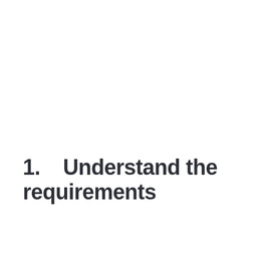1.    Understand the requirements